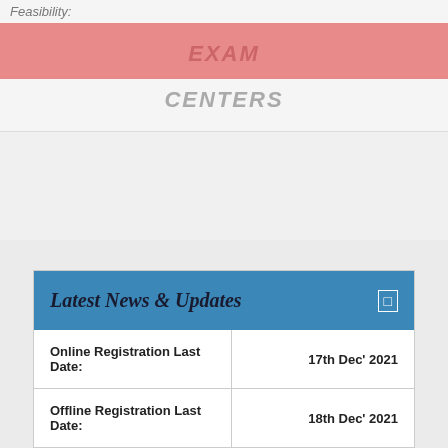Feasibility:
EXAM
CENTERS
Latest News & Updates
| Field | Value |
| --- | --- |
| Online Registration Last Date: | 17th Dec' 2021 |
| Offline Registration Last Date: | 18th Dec' 2021 |
| Exam Date: | 19th De... |